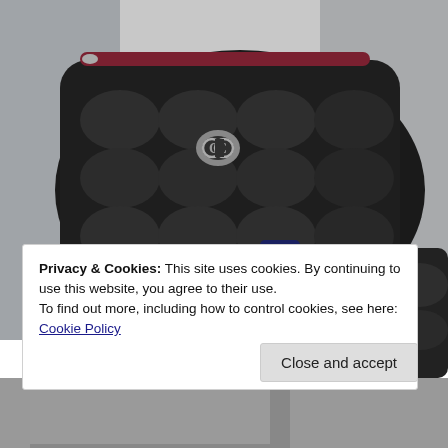[Figure (photo): A hand holding a black quilted Chanel caviar leather pouch/cosmetic bag with silver CC logo and burgundy zipper trim. In the background bottom right, a second smaller black quilted Chanel wallet/card holder is visible. The setting appears to be a store display.]
Privacy & Cookies: This site uses cookies. By continuing to use this website, you agree to their use.
To find out more, including how to control cookies, see here: Cookie Policy
Close and accept